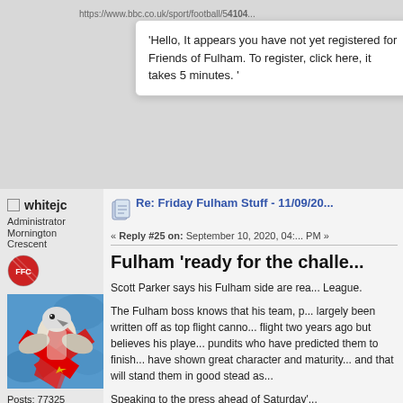'Hello, It appears you have not yet registered for Friends of Fulham. To register, click here, it takes 5 minutes. '
https://www.bbc.co.uk/sport/football/54104...
whitejc
Administrator
Mornington Crescent
Posts: 77325
I'm tall for my height
Re: Friday Fulham Stuff - 11/09/20
« Reply #25 on: September 10, 2020, 04:... PM »
Fulham 'ready for the challe...
Scott Parker says his Fulham side are rea... League.
The Fulham boss knows that his team, p... largely been written off as top flight canno... flight two years ago but believes his playe... pundits who have predicted them to finish... have shown great character and maturity... and that will stand them in good stead as...
Speaking to the press ahead of Saturday'...
We need to relish this challenge. We set...